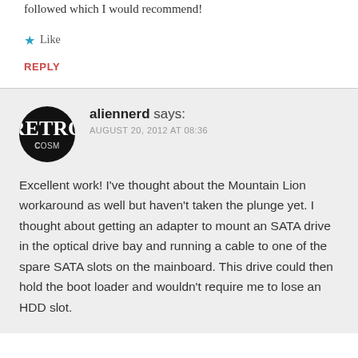followed which I would recommend!
Like
REPLY
aliennerd says:
AUGUST 20, 2012 AT 08:36
Excellent work! I've thought about the Mountain Lion workaround as well but haven't taken the plunge yet. I thought about getting an adapter to mount an SATA drive in the optical drive bay and running a cable to one of the spare SATA slots on the mainboard. This drive could then hold the boot loader and wouldn't require me to lose an HDD slot.